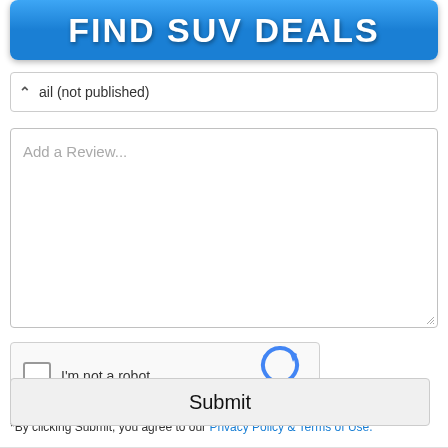[Figure (other): Blue button with bold white text reading FIND SUV DEALS]
ail (not published)
Add a Review...
[Figure (other): reCAPTCHA widget with checkbox labeled I'm not a robot, reCAPTCHA logo, Privacy and Terms links]
*By clicking Submit, you agree to our Privacy Policy & Terms of Use.
Submit